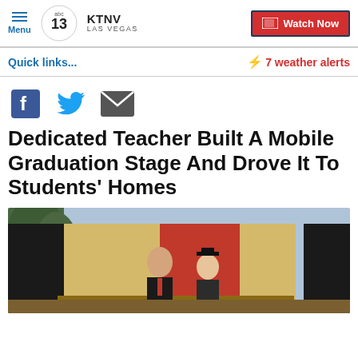Menu | KTNV LAS VEGAS | Watch Now
Quick links... | ⚡ 7 weather alerts
[Figure (other): Social share icons: Facebook, Twitter, Email]
Dedicated Teacher Built A Mobile Graduation Stage And Drove It To Students' Homes
[Figure (photo): A man in a suit and a woman in graduation cap and gown posing in front of a decorated mobile graduation stage with trees in the background.]